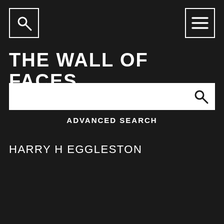[Search icon] [Menu icon]
THE WALL OF FACES
[Figure (other): Search input bar with a magnifying glass icon on the right]
ADVANCED SEARCH
HARRY H EGGLESTON